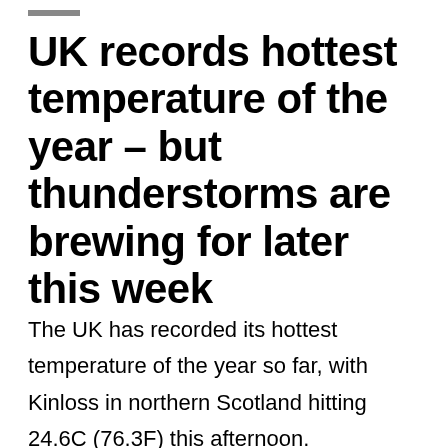UK records hottest temperature of the year – but thunderstorms are brewing for later this week
The UK has recorded its hottest temperature of the year so far, with Kinloss in northern Scotland hitting 24.6C (76.3F) this afternoon.